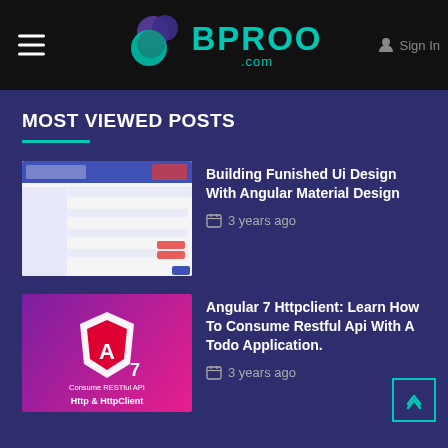BPROO .com — Sign In
MOST VIEWED POSTS
[Figure (screenshot): Screenshot of an Angular Material Design UI showing a table/data grid interface with blue header bar]
Building Funished Ui Design With Angular Material Design
3 years ago
[Figure (illustration): Purple/magenta background with Angular logo (white A shield) and text 'Consume RESTful API Http & HttpClient' with number 7]
Angular 7 Httpclient: Learn How To Consume Restful Api With A Todo Application.
3 years ago